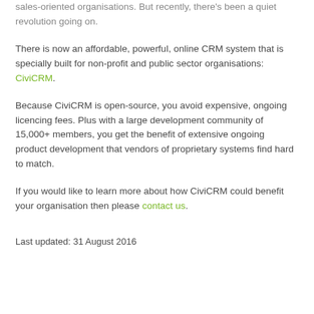sales-oriented organisations. But recently, there's been a quiet revolution going on.
There is now an affordable, powerful, online CRM system that is specially built for non-profit and public sector organisations: CiviCRM.
Because CiviCRM is open-source, you avoid expensive, ongoing licencing fees. Plus with a large development community of 15,000+ members, you get the benefit of extensive ongoing product development that vendors of proprietary systems find hard to match.
If you would like to learn more about how CiviCRM could benefit your organisation then please contact us.
Last updated: 31 August 2016